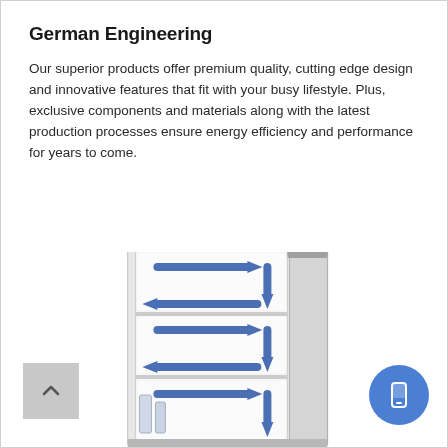German Engineering
Our superior products offer premium quality, cutting edge design and innovative features that fit with your busy lifestyle. Plus, exclusive components and materials along with the latest production processes ensure energy efficiency and performance for years to come.
[Figure (illustration): An open under-counter refrigerator/freezer appliance showing internal drawers with blue arrows indicating airflow circulation pattern across the compartments. The appliance is shown with its door open, revealing multiple drawer compartments with arrows showing air distribution throughout.]